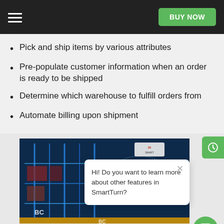BUY NOW
Pick and ship items by various attributes
Pre-populate customer information when an order is ready to be shipped
Determine which warehouse to fulfill orders from
Automate billing upon shipment
[Figure (screenshot): Warehouse interior with blue industrial shelving and a chat popup overlay reading: Hi! Do you want to learn more about other features in SmartTurn?]